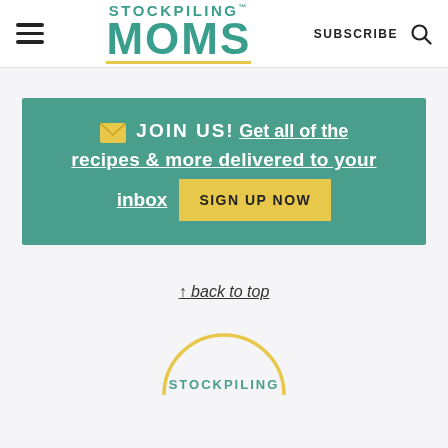STOCKPILING MOMS — SUBSCRIBE (navigation header)
✉ JOIN US! Get all of the recipes & more delivered to your inbox SIGN UP NOW
↑ back to top
[Figure (logo): Stockpiling Moms circular footer logo, partially visible at bottom of page, gold circle outline with teal text]